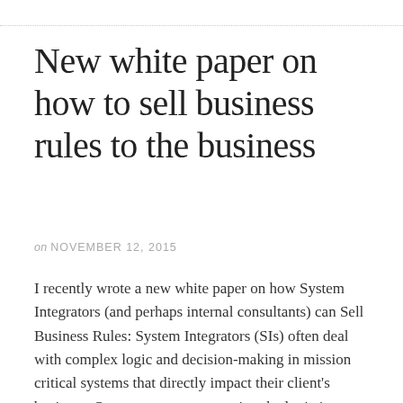New white paper on how to sell business rules to the business
on NOVEMBER 12, 2015
I recently wrote a new white paper on how System Integrators (and perhaps internal consultants) can Sell Business Rules: System Integrators (SIs) often deal with complex logic and decision-making in mission critical systems that directly impact their client’s business. One way to ease managing the logic is through technology – like a business rules management [...]